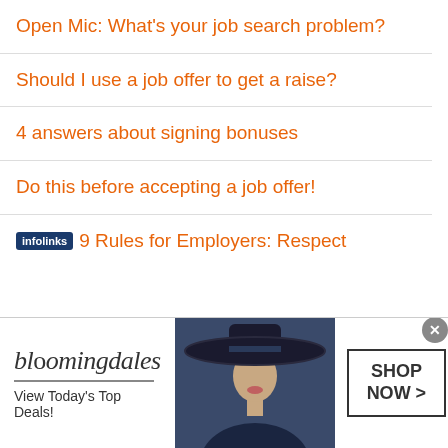Open Mic: What's your job search problem?
Should I use a job offer to get a raise?
4 answers about signing bonuses
Do this before accepting a job offer!
9 Rules for Employers: Respect
[Figure (screenshot): Bloomingdale's advertisement banner with logo, 'View Today's Top Deals!' tagline, woman in wide-brim hat, and 'SHOP NOW >' button. Infolinks badge visible above.]